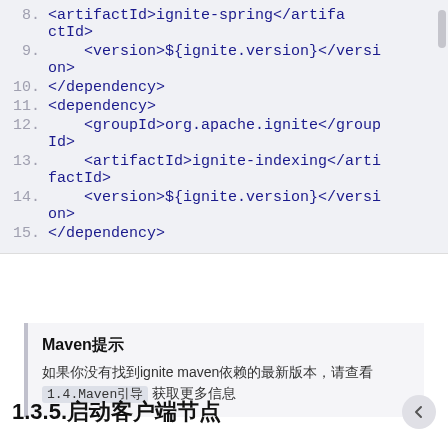[Figure (screenshot): Code block showing XML Maven dependency configuration, lines 8-15]
Maven提示
如果你没有找到ignite maven依赖的最新版本，请查看 1.4.Maven引导 获取更多信息
1.3.5.启动客户端节点